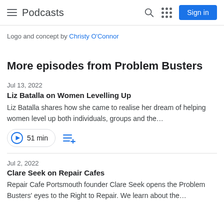Podcasts
Logo and concept by Christy O'Connor
More episodes from Problem Busters
Jul 13, 2022
Liz Batalla on Women Levelling Up
Liz Batalla shares how she came to realise her dream of helping women level up both individuals, groups and the…
51 min
Jul 2, 2022
Clare Seek on Repair Cafes
Repair Cafe Portsmouth founder Clare Seek opens the Problem Busters' eyes to the Right to Repair. We learn about the…